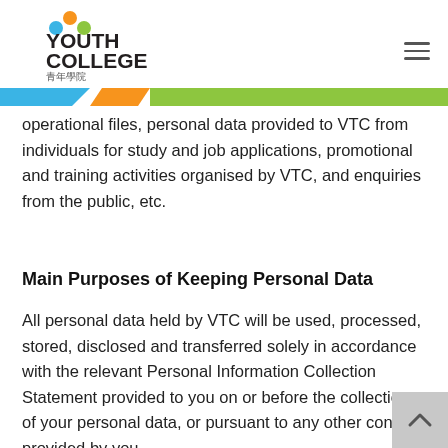Youth College 青年學院
operational files, personal data provided to VTC from individuals for study and job applications, promotional and training activities organised by VTC, and enquiries from the public, etc.
Main Purposes of Keeping Personal Data
All personal data held by VTC will be used, processed, stored, disclosed and transferred solely in accordance with the relevant Personal Information Collection Statement provided to you on or before the collection of your personal data, or pursuant to any other consent provided by you.